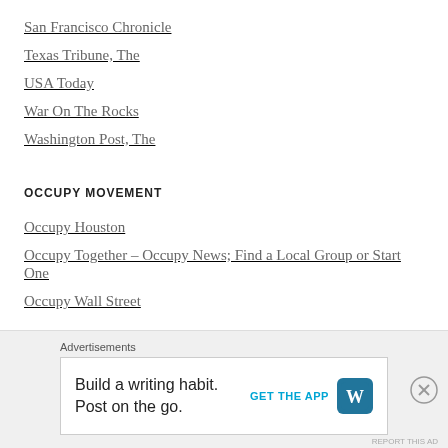San Francisco Chronicle
Texas Tribune, The
USA Today
War On The Rocks
Washington Post, The
OCCUPY MOVEMENT
Occupy Houston
Occupy Together – Occupy News; Find a Local Group or Start One
Occupy Wall Street
POLITICAL ARTICLES & OPINIONS
[Figure (other): Advertisement banner: 'Build a writing habit. Post on the go.' with GET THE APP button and WordPress logo icon. Close (X) button in top right corner of the ad overlay.]